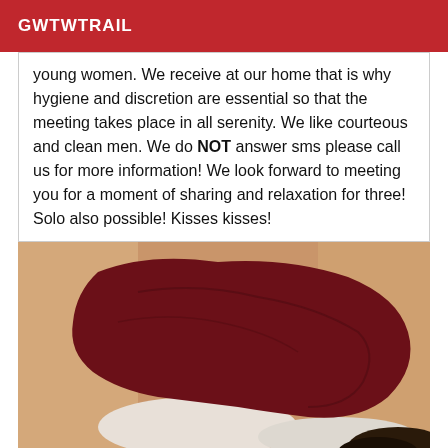GWTWTRAIL
young women. We receive at our home that is why hygiene and discretion are essential so that the meeting takes place in all serenity. We like courteous and clean men. We do NOT answer sms please call us for more information! We look forward to meeting you for a moment of sharing and relaxation for three! Solo also possible! Kisses kisses!
[Figure (photo): Photo showing a dark red/maroon garment or fabric on a bed with white pillows/sheets, taken from above]